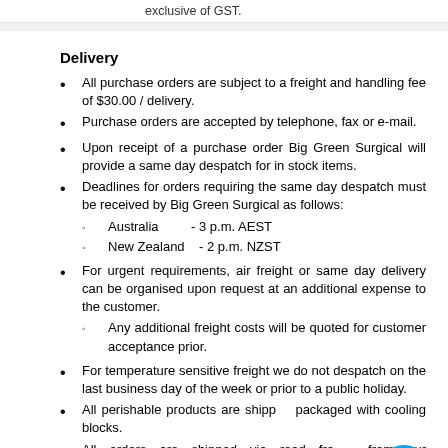exclusive of GST.
Delivery
All purchase orders are subject to a freight and handling fee of $30.00 / delivery.
Purchase orders are accepted by telephone, fax or e-mail.
Upon receipt of a purchase order Big Green Surgical will provide a same day despatch for in stock items.
Deadlines for orders requiring the same day despatch must be received by Big Green Surgical as follows:
Australia        - 3 p.m. AEST
New Zealand      - 2 p.m. NZST
For urgent requirements, air freight or same day delivery can be organised upon request at an additional expense to the customer.
Any additional freight costs will be quoted for customer acceptance prior.
For temperature sensitive freight we do not despatch on the last business day of the week or prior to a public holiday.
All perishable products are shipped packaged with cooling blocks.
All orders are shipped via road freight from our Warehouses.
For your convenience, all products may be